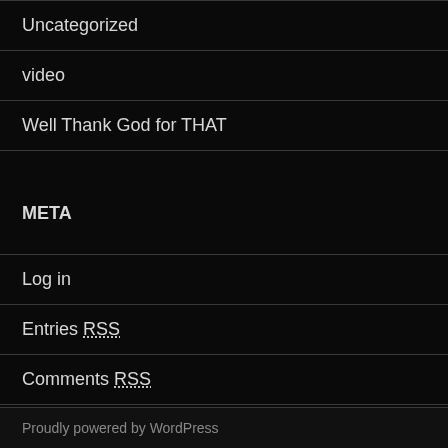Uncategorized
video
Well Thank God for THAT
META
Log in
Entries RSS
Comments RSS
WordPress.org
Proudly powered by WordPress